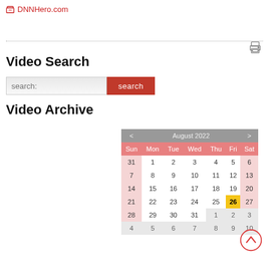DNNHero.com
Video Search
[Figure (screenshot): Search input box with placeholder 'search:' and a red 'search' button]
Video Archive
[Figure (other): August 2022 calendar widget showing days 1-31 with August 26 highlighted in yellow, navigation arrows for previous/next month, day headers Sun-Sat in pink/red]